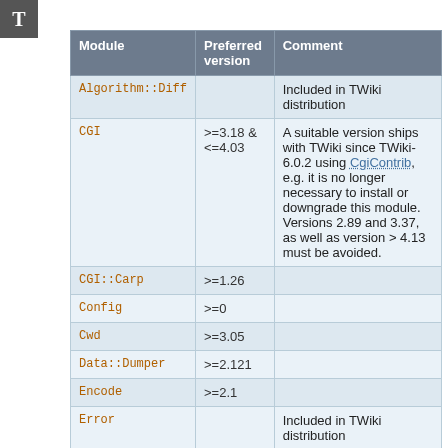| Module | Preferred version | Comment |
| --- | --- | --- |
| Algorithm::Diff |  | Included in TWiki distribution |
| CGI | >=3.18 & <=4.03 | A suitable version ships with TWiki since TWiki-6.0.2 using CgiContrib, e.g. it is no longer necessary to install or downgrade this module. Versions 2.89 and 3.37, as well as version > 4.13 must be avoided. |
| CGI::Carp | >=1.26 |  |
| Config | >=0 |  |
| Cwd | >=3.05 |  |
| Data::Dumper | >=2.121 |  |
| Encode | >=2.1 |  |
| Error |  | Included in TWiki distribution |
| File::Copy | >=2.06 |  |